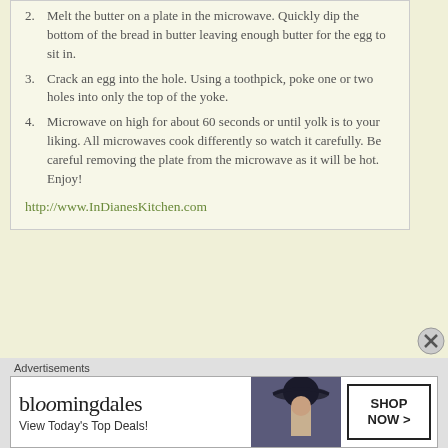2. Melt the butter on a plate in the microwave. Quickly dip the bottom of the bread in butter leaving enough butter for the egg to sit in.
3. Crack an egg into the hole. Using a toothpick, poke one or two holes into only the top of the yoke.
4. Microwave on high for about 60 seconds or until yolk is to your liking. All microwaves cook differently so watch it carefully. Be careful removing the plate from the microwave as it will be hot. Enjoy!
http://www.InDianesKitchen.com
Advertisements
[Figure (other): Bloomingdales advertisement banner with logo, 'View Today's Top Deals!' tagline, woman in hat image, and 'SHOP NOW >' button]